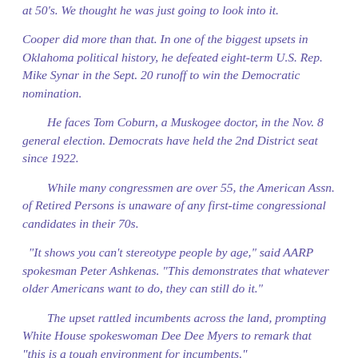at 50's. We thought he was just going to look into it.
Cooper did more than that. In one of the biggest upsets in Oklahoma political history, he defeated eight-term U.S. Rep. Mike Synar in the Sept. 20 runoff to win the Democratic nomination.
He faces Tom Coburn, a Muskogee doctor, in the Nov. 8 general election. Democrats have held the 2nd District seat since 1922.
While many congressmen are over 55, the American Assn. of Retired Persons is unaware of any first-time congressional candidates in their 70s.
"It shows you can't stereotype people by age," said AARP spokesman Peter Ashkenas. "This demonstrates that whatever older Americans want to do, they can still do it."
The upset rattled incumbents across the land, prompting White House spokeswoman Dee Dee Myers to remark that "this is a tough environment for incumbents."
Cooper, a World War II veteran, avid reader and community